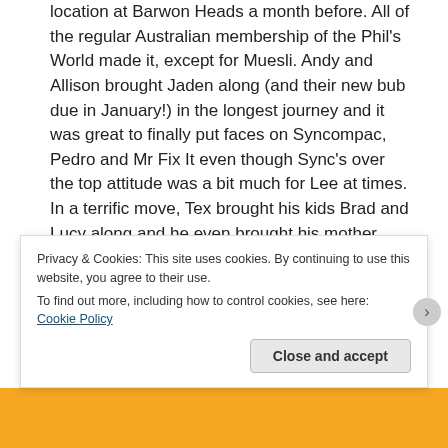location at Barwon Heads a month before. All of the regular Australian membership of the Phil's World made it, except for Muesli. Andy and Allison brought Jaden along (and their new bub due in January!) in the longest journey and it was great to finally put faces on Syncompac, Pedro and Mr Fix It even though Sync's over the top attitude was a bit much for Lee at times. In a terrific move, Tex brought his kids Brad and Lucy along and he even brought his mother Alice as well. A fine lady, but she embarrassed Tex big time when she let his real name slip out and we all heard it! I was the only non Caldwell in the room who knew straight away the lid had been blown off, and Craig had to get the obvious reference in (and not everyone got it and I won't expand on it because it'll give it away). Craig
Privacy & Cookies: This site uses cookies. By continuing to use this website, you agree to their use.
To find out more, including how to control cookies, see here: Cookie Policy
Close and accept